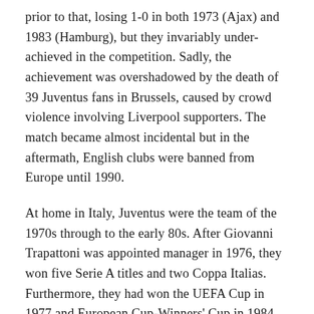prior to that,  losing 1-0 in both 1973 (Ajax) and 1983 (Hamburg), but they invariably under-achieved in the competition. Sadly, the achievement was overshadowed by the death of 39 Juventus fans in Brussels, caused by crowd violence involving Liverpool supporters. The match became almost incidental but in the aftermath, English clubs were banned from Europe until 1990.
At home in Italy, Juventus were the team of the 1970s through to the early 80s. After Giovanni Trapattoni was appointed manager in 1976, they won five Serie A titles and two Coppa Italias. Furthermore, they had won the UEFA Cup in 1977 and European Cup-Winners' Cup in 1984. From 1970, Juventus had won eight league titles versus two for Inter and one for AC Milan.
Juventus were a mature, star-studded team in 1984…